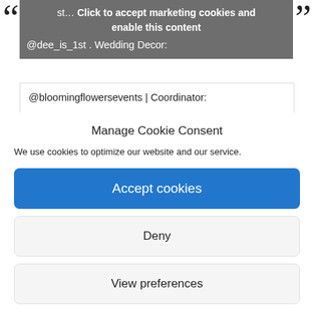[Figure (screenshot): Screenshot of a webpage with a cookie consent dialog overlaying background content about a wedding. Background shows social media handles and vendor credits. Foreground shows a 'Manage Cookie Consent' modal with Accept, Deny, and View preferences buttons.]
st... Click to accept marketing cookies and enable this content @dee_is_1st . Wedding Decor:
@bloomingflowersevents | Coordinator:
Busy Bee Events | Makeup:
@beautifulke__ | Hair: TBA | Gown: TBA
Manage Cookie Consent
We use cookies to optimize our website and our service.
Accept cookies
Deny
View preferences